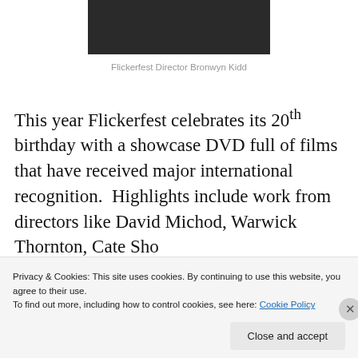[Figure (photo): Close-up photo of Flickerfest Director Bronwyn Kidd against a dark background]
Flickerfest Director Bronwyn Kidd
This year Flickerfest celebrates its 20th birthday with a showcase DVD full of films that have received major international recognition.  Highlights include work from directors like David Michod, Warwick Thornton, Cate Shortland,Nade Trintignant and Sean Byrne, lots of
Privacy & Cookies: This site uses cookies. By continuing to use this website, you agree to their use.
To find out more, including how to control cookies, see here: Cookie Policy
Close and accept